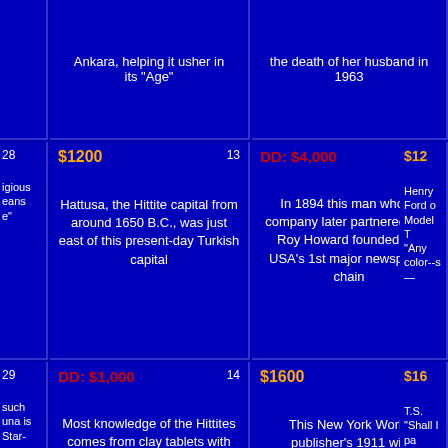| (partial) | ...Ankara, helping it usher in its "Age" | ...the death of her husband in 1963 | (partial) |
| 28 | $1200 / 13 | DD: $4,000 / 9 | $12... |
| (partial) | Hattusa, the Hittite capital from around 1650 B.C., was just east of this present-day Turkish capital | In 1894 this man whose company later partnered with Roy Howard founded the USA's 1st major newspaper chain | Henry Ford o... Model T... "Any color--s... — |
| 29 | DD: $1,000 / 14 | $1600 / 10 | $16... |
| (partial) | Most knowledge of the Hittites comes from clay tablets with writing in this wedge-shaped system | This New York World publisher's 1911 will established the Columbia University School of Journalism | T.S.... "Shall I pa... behind? Do I... peach? I sha... flannel trous... upon the... |